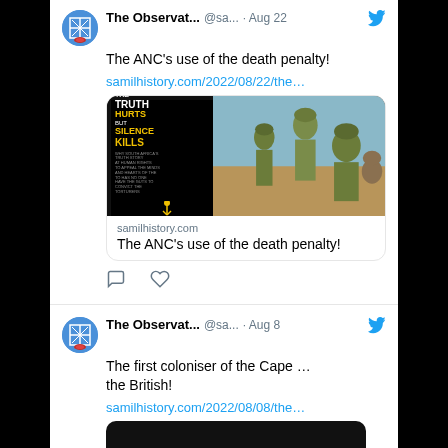[Figure (screenshot): Twitter/X feed screenshot showing two tweets from 'The Observat...' account (@sa...). First tweet dated Aug 22: 'The ANC's use of the death penalty!' with link samilhistory.com/2022/08/22/the... and a link card showing a book cover 'THE TRUTH HURTS BUT SILENCE KILLS' alongside a photo of soldiers. Second tweet dated Aug 8: 'The first coloniser of the Cape ... the British!' with link samilhistory.com/2022/08/08/the... and a partial dark image.]